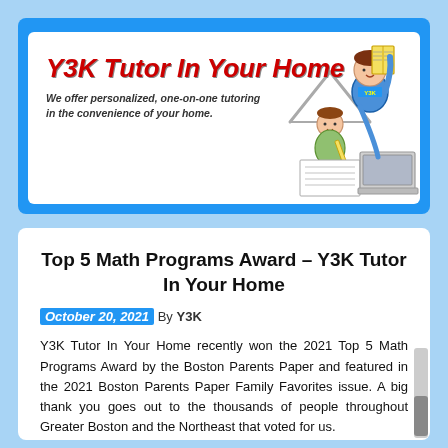[Figure (illustration): Y3K Tutor In Your Home website banner showing the company name in red italic bold text, tagline 'We offer personalized, one-on-one tutoring in the convenience of your home.', a cartoon house roofline, and a cartoon illustration of a tutor (adult in blue shirt labeled Y3K) helping a child with a laptop and book.]
Top 5 Math Programs Award – Y3K Tutor In Your Home
October 20, 2021 By Y3K
Y3K Tutor In Your Home recently won the 2021 Top 5 Math Programs Award by the Boston Parents Paper and featured in the 2021 Boston Parents Paper Family Favorites issue. A big thank you goes out to the thousands of people throughout Greater Boston and the Northeast that voted for us.